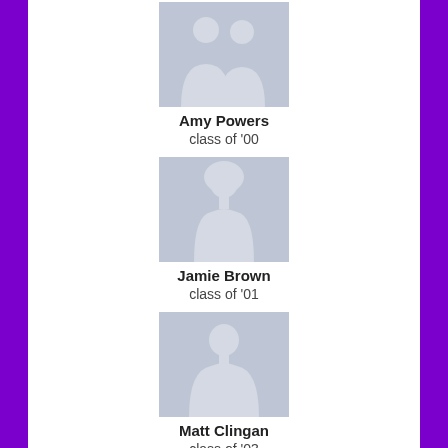[Figure (illustration): Generic user silhouette placeholder avatar for Amy Powers - two-person silhouette]
Amy Powers
class of '00
[Figure (illustration): Generic user silhouette placeholder avatar for Jamie Brown - female silhouette]
Jamie Brown
class of '01
[Figure (illustration): Generic user silhouette placeholder avatar for Matt Clingan - male silhouette]
Matt Clingan
class of '03
[Figure (illustration): Generic user silhouette placeholder avatar - partially visible at bottom of page]